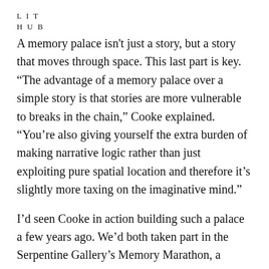L I T
H U B
A memory palace isn't just a story, but a story that moves through space. This last part is key. “The advantage of a memory palace over a simple story is that stories are more vulnerable to breaks in the chain,” Cooke explained. “You’re also giving yourself the extra burden of making narrative logic rather than just exploiting pure spatial location and therefore it’s slightly more taxing on the imaginative mind.”
I’d seen Cooke in action building such a palace a few years ago. We’d both taken part in the Serpentine Gallery’s Memory Marathon, a